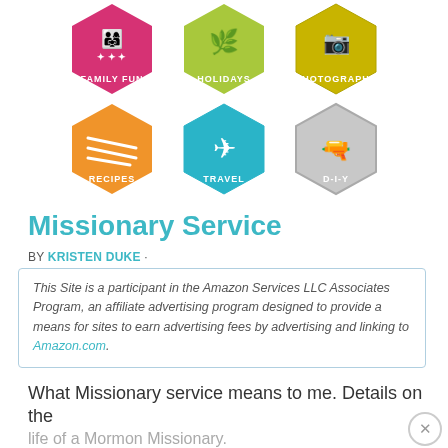[Figure (illustration): Six colorful hexagonal category icons arranged in two rows: top row shows Family Fun (pink/magenta with figure icon), Holidays (yellow-green with tree/leaf icon), Photography (olive-yellow with camera icon); bottom row shows Recipes (orange with fork/spoon icon), Travel (teal with airplane icon), D-I-Y (gray with glue gun icon).]
Missionary Service
BY KRISTEN DUKE ·
This Site is a participant in the Amazon Services LLC Associates Program, an affiliate advertising program designed to provide a means for sites to earn advertising fees by advertising and linking to Amazon.com.
What Missionary service means to me. Details on the life of a Mormon Missionary.